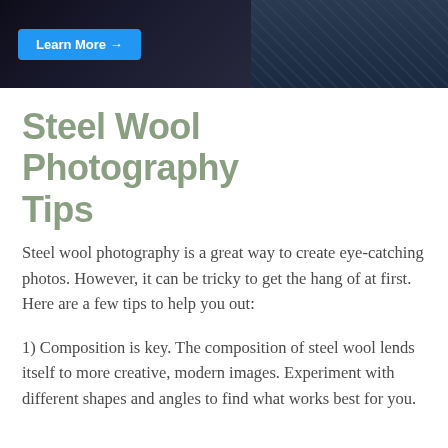[Figure (photo): Banner image split into two sections: left dark background with a blue 'Learn More →' button, right showing a laptop on a table outdoors at dusk.]
Steel Wool Photography Tips
Steel wool photography is a great way to create eye-catching photos. However, it can be tricky to get the hang of at first. Here are a few tips to help you out:
1) Composition is key. The composition of steel wool lends itself to more creative, modern images. Experiment with different shapes and angles to find what works best for you.